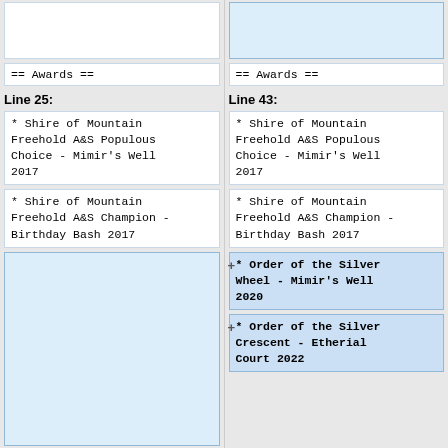(empty cell top-left)
(empty cell top-right, blue)
== Awards ==
== Awards ==
Line 25:
Line 43:
* Shire of Mountain Freehold A&S Populous Choice - Mimir's Well 2017
* Shire of Mountain Freehold A&S Populous Choice - Mimir's Well 2017
* Shire of Mountain Freehold A&S Champion - Birthday Bash 2017
* Shire of Mountain Freehold A&S Champion - Birthday Bash 2017
* Order of the Silver Wheel - Mimir's Well 2020
* Order of the Silver Crescent - Etherial Court 2022
(bottom empty cell)